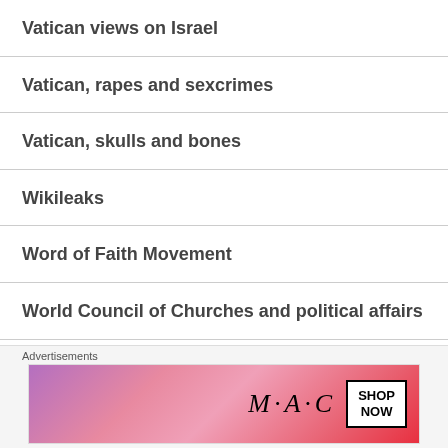Vatican views on Israel
Vatican, rapes and sexcrimes
Vatican, skulls and bones
Wikileaks
Word of Faith Movement
World Council of Churches and political affairs
Advertisements
[Figure (photo): MAC cosmetics advertisement banner showing lipsticks with MAC logo and SHOP NOW button]